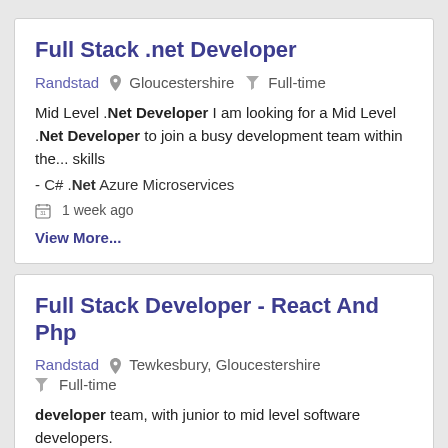Full Stack .net Developer
Randstad  📍 Gloucestershire  🔽 Full-time
Mid Level .Net Developer I am looking for a Mid Level .Net Developer to join a busy development team within the... skills - C# .Net Azure Microservices
1 week ago
View More...
Full Stack Developer - React And Php
Randstad  📍 Tewkesbury, Gloucestershire   Full-time
developer team, with junior to mid level software developers. With an established team of developers in place... per week